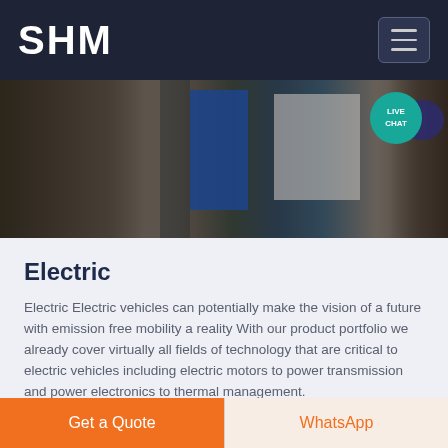SHM
[Figure (photo): Industrial facility interior showing machinery, a blue panel/door, and a light-colored rectangular structure, partially visible.]
Electric
Electric Electric vehicles can potentially make the vision of a future with emission free mobility a reality With our product portfolio we already cover virtually all fields of technology that are critical to electric vehicles including electric motors to power transmission and power electronics to thermal management.
Get a Quote
WhatsApp